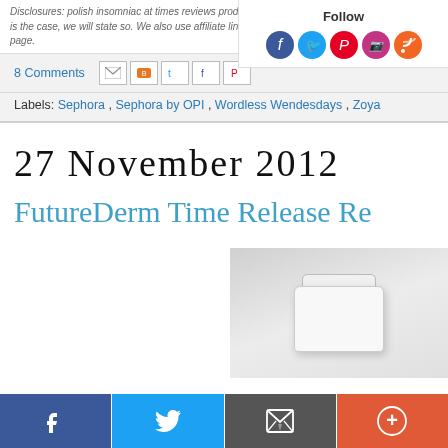Disclosures: polish insomniac at times reviews products provided by representatives. When this is the case, we will state so. We also use affiliate links. For more, please see the disclosure page.
Follow
8 Comments
Labels: Sephora , Sephora by OPI , Wordless Wendesdays , Zoya
27 November 2012
FutureDerm Time Release Re...
[Figure (photo): Partial photo of a white cosmetic jar product (FutureDerm), light gray background]
Facebook share | Twitter share | Email | More